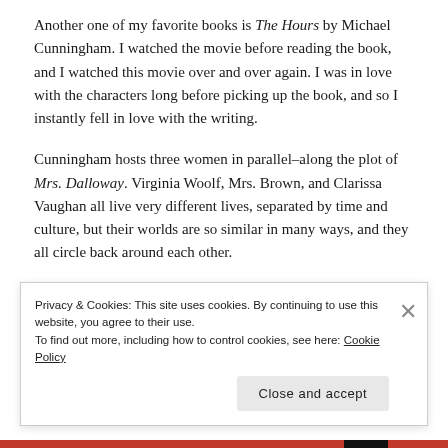Another one of my favorite books is The Hours by Michael Cunningham. I watched the movie before reading the book, and I watched this movie over and over again. I was in love with the characters long before picking up the book, and so I instantly fell in love with the writing.
Cunningham hosts three women in parallel–along the plot of Mrs. Dalloway. Virginia Woolf, Mrs. Brown, and Clarissa Vaughan all live very different lives, separated by time and culture, but their worlds are so similar in many ways, and they all circle back around each other.
I love the darkness that hides in the corners of this book.
Privacy & Cookies: This site uses cookies. By continuing to use this website, you agree to their use.
To find out more, including how to control cookies, see here: Cookie Policy